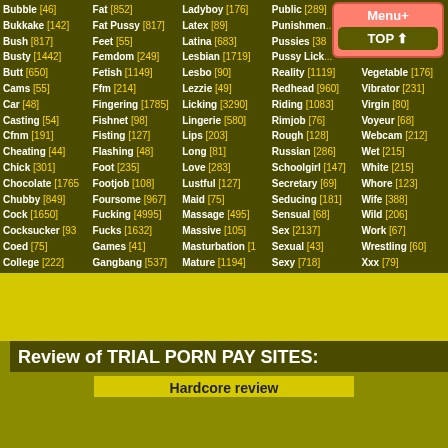Bubble [46], Fat [852], Ladyboy [176], Public [289], Twink [232], Bukkake [142], Fat Pussy [817], Latex [89], Punishment [...], Bush [817], Feet [55], Latina [683], Pussies [38...], Busty [1442], Femdom [249], Lesbian [1719], Pussy Licki..., Butt [650], Fetish [1149], Lesbo [90], Reality [1119], Vegetable [176], Cams [55], Ffm [214], Lezzie [49], Redhead [960], Vibrator [231], Car [48], Fingering [1785], Licking [3290], Riding [1083], Virgin [80], Casting [54], Fishnet [98], Lingerie [580], Rimjob [76], Voyeur [68], Cfnm [191], Fisting [127], Lips [203], Rough [128], Webcam [212], Cheating [44], Flashing [48], Long [81], Russian [286], Wet [215], Chick [301], Foot [235], Love [283], Schoolgirl [147], White [215], Chocolate [1765], Footjob [108], Lustful [127], Secretary [69], Whore [123], Chubby [849], Foursome [967], Maid [75], Seducing [181], Wife [388], Cock [1650], Fucking [4995], Massage [495], Sensual [68], Wild [206], Cocksucker [93...], Fucks [1632], Massive [105], Sex [2137], Work [67], Coed [75], Games [41], Masturbation [1...], Sexual [43], Wrestling [60], College [222], Gangbang [537], Mature [1194], Sexy [718], Xxx [79]
Review of TRIAL PORN PAY SITES:
Hardcore review